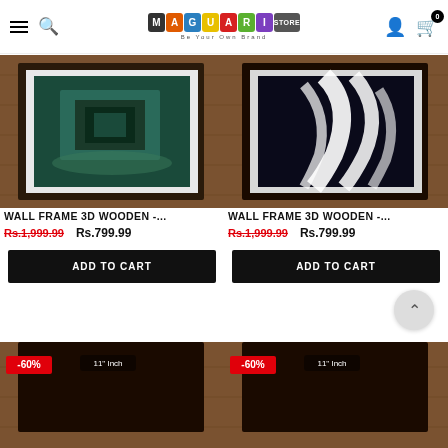MAGUARI STORE - Be Your Own Brand
[Figure (screenshot): Product card left: wall frame 3D wooden artwork photo (aerial view building) in dark wooden frame on wooden wall background]
WALL FRAME 3D WOODEN -...
Rs.1,999.99  Rs.799.99
ADD TO CART
[Figure (screenshot): Product card right: wall frame 3D wooden artwork with black and white floral/leaf design in dark wooden frame on wooden wall background]
WALL FRAME 3D WOODEN -...
Rs.1,999.99  Rs.799.99
ADD TO CART
[Figure (screenshot): Bottom left product card: wooden frame partially visible with -60% discount badge and 11 inch label]
[Figure (screenshot): Bottom right product card: wooden frame partially visible with -60% discount badge and 11 inch label]